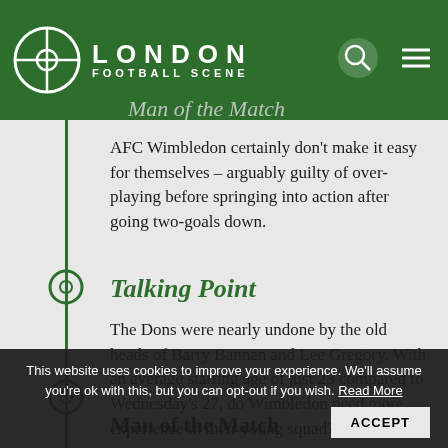London Football Scene
Man of the Match
AFC Wimbledon certainly don't make it easy for themselves – arguably guilty of over-playing before springing into action after going two-goals down.
Talking Point
The Dons were nearly undone by the old heads of Barry Bannan and Lee Gregory. With an average starting age of just 23 compared to Wednesday's 27, do Wimbledon need more experience in their young squad?
Man of the Match
This website uses cookies to improve your experience. We'll assume you're ok with this, but you can opt-out if you wish. Read More